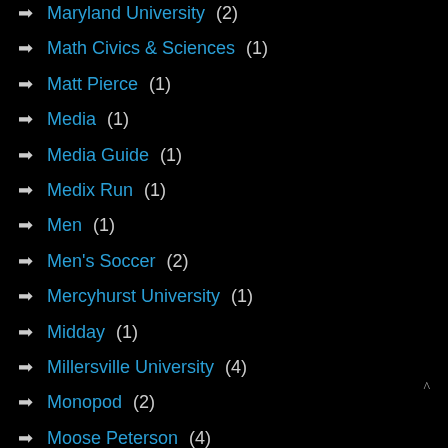Maryland University (2)
Math Civics & Sciences (1)
Matt Pierce (1)
Media (1)
Media Guide (1)
Medix Run (1)
Men (1)
Men's Soccer (2)
Mercyhurst University (1)
Midday (1)
Millersville University (4)
Monopod (2)
Moose Peterson (4)